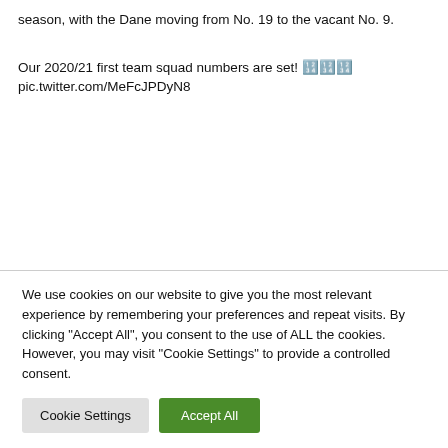season, with the Dane moving from No. 19 to the vacant No. 9.
Our 2020/21 first team squad numbers are set! 🔢🔢🔢 pic.twitter.com/MeFcJPDyN8
We use cookies on our website to give you the most relevant experience by remembering your preferences and repeat visits. By clicking "Accept All", you consent to the use of ALL the cookies. However, you may visit "Cookie Settings" to provide a controlled consent.